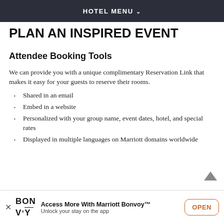HOTEL MENU
PLAN AN INSPIRED EVENT
Attendee Booking Tools
We can provide you with a unique complimentary Reservation Link that makes it easy for your guests to reserve their rooms.
Shared in an email
Embed in a website
Personalized with your group name, event dates, hotel, and special rates
Displayed in multiple languages on Marriott domains worldwide
Access More With Marriott Bonvoy™ Unlock your stay on the app OPEN